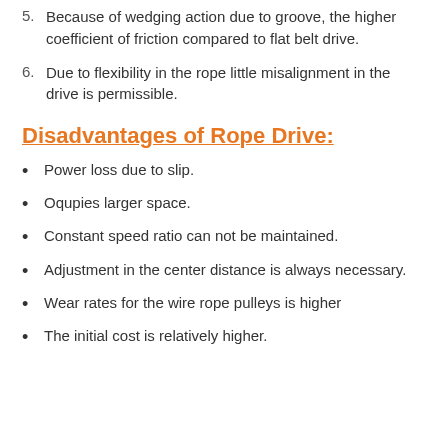5. Because of wedging action due to groove, the higher coefficient of friction compared to flat belt drive.
6. Due to flexibility in the rope little misalignment in the drive is permissible.
Disadvantages of Rope Drive:
Power loss due to slip.
Oqupies larger space.
Constant speed ratio can not be maintained.
Adjustment in the center distance is always necessary.
Wear rates for the wire rope pulleys is higher
The initial cost is relatively higher.